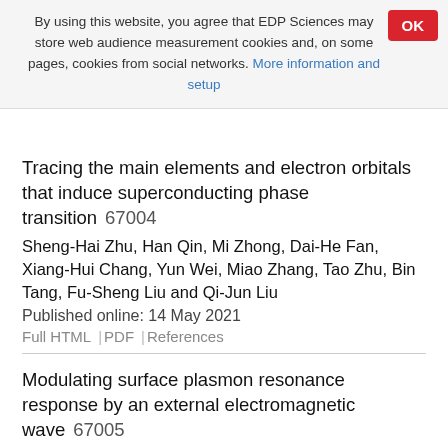By using this website, you agree that EDP Sciences may store web audience measurement cookies and, on some pages, cookies from social networks. More information and setup
Tracing the main elements and electron orbitals that induce superconducting phase transition 67004
Sheng-Hai Zhu, Han Qin, Mi Zhong, Dai-He Fan, Xiang-Hui Chang, Yun Wei, Miao Zhang, Tao Zhu, Bin Tang, Fu-Sheng Liu and Qi-Jun Liu
Published online: 14 May 2021
Full HTML | PDF | References
Modulating surface plasmon resonance response by an external electromagnetic wave 67005
Ashutosh Joshi, Amrit Kumar, Manjuladevi V and R. K. Gupta
Published online: 13 May 2021
Full HTML | PDF | References